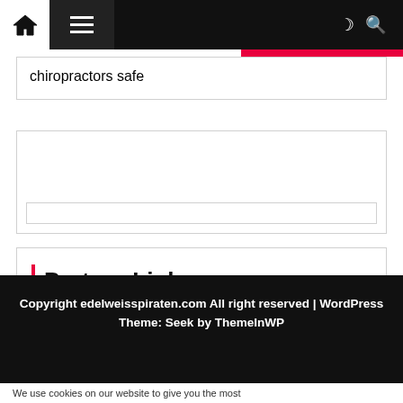Navigation bar with home icon, hamburger menu, moon/dark-mode icon, search icon
chiropractors safe
[Figure (other): Empty widget/advertisement box with a thin inner input bar at the bottom]
Partner Links
Copyright edelweisspiraten.com All right reserved | WordPress Theme: Seek by ThemeInWP
We use cookies on our website to give you the most